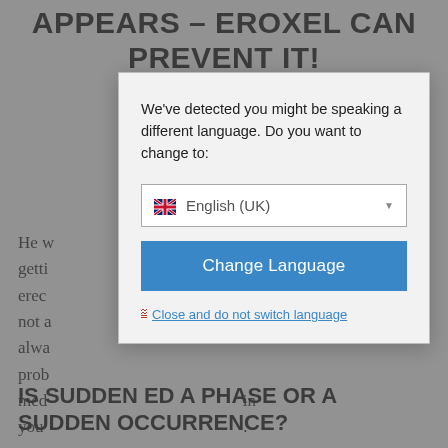APPEARS – EROXEL CAN PREVENT IT!
He w... n't getti... erec... his is not a... not alwa... prob... med... in you... .
[Figure (screenshot): Language selection modal dialog overlaying the page. Contains prompt text 'We've detected you might be speaking a different language. Do you want to change to:', a dropdown showing 'English (UK)' with UK flag icon, a blue 'Change Language' button, and a 'Close and do not switch language' link with red X icon.]
IS SUDDEN ED A PHASE OR A SUDDEN OCCURRENCE?